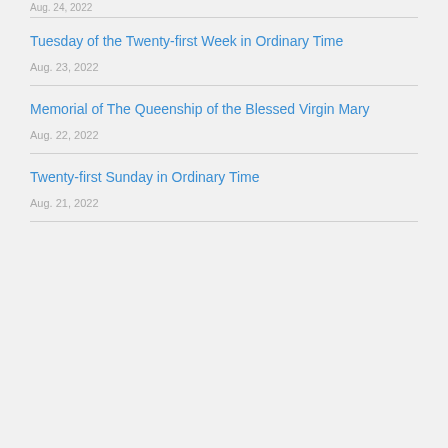Aug. 24, 2022
Tuesday of the Twenty-first Week in Ordinary Time
Aug. 23, 2022
Memorial of The Queenship of the Blessed Virgin Mary
Aug. 22, 2022
Twenty-first Sunday in Ordinary Time
Aug. 21, 2022